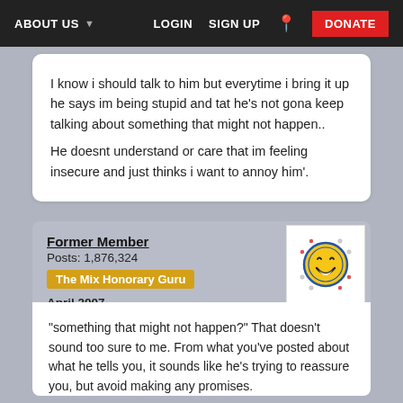ABOUT US  LOGIN  SIGN UP  DONATE
I know i should talk to him but everytime i bring it up he says im being stupid and tat he's not gona keep talking about something that might not happen.. He doesnt understand or care that im feeling insecure and just thinks i want to annoy him'.
Former Member
Posts: 1,876,324
The Mix Honorary Guru
April 2007
"something that might not happen?" That doesn't sound too sure to me. From what you've posted about what he tells you, it sounds like he's trying to reassure you, but avoid making any promises.